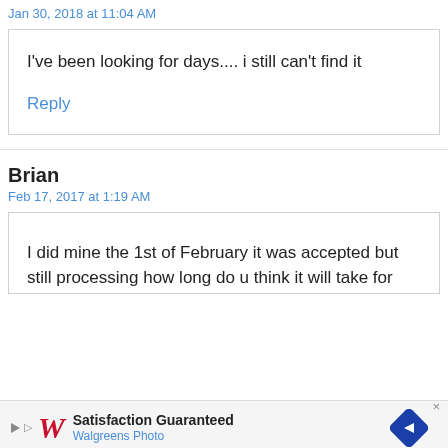Jan 30, 2018 at 11:04 AM
I've been looking for days.... i still can't find it
Reply
Brian
Feb 17, 2017 at 1:19 AM
I did mine the 1st of February it was accepted but still processing how long do u think it will take for
[Figure (infographic): Walgreens Photo advertisement banner with play button, Walgreens script logo, 'Satisfaction Guaranteed' text, 'Walgreens Photo' subtitle, and a blue diamond navigation arrow icon]